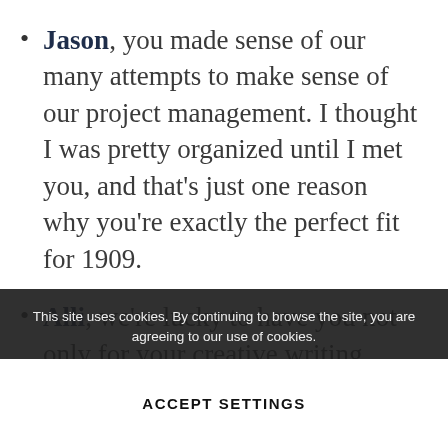Jason, you made sense of our many attempts to make sense of our project management. I thought I was pretty organized until I met you, and that's just one reason why you're exactly the perfect fit for 1909.
Alli, we're lucky to have you not only for your creative writing skills, but for your love of lifelong learning. From the bold... limits... to catch h... attails
M... and a ...
This site uses cookies. By continuing to browse the site, you are agreeing to our use of cookies.
ACCEPT SETTINGS